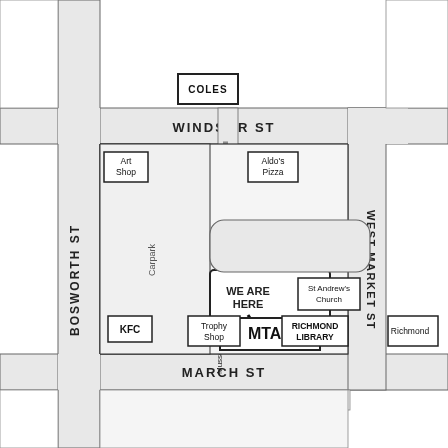[Figure (map): Street map showing MTAS location at the intersection of Bosworth St, Windsor St, West Market St, and March St. Features landmarks including COLES, Art Shop, Aldo's Pizza, KFC, Trophy Shop, Richmond Library, St Andrew's Church, and a carpark. A 'WE ARE HERE' arrow points to MTAS building on Musson Lane.]